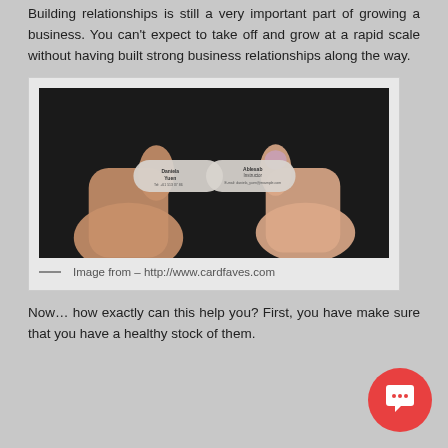Building relationships is still a very important part of growing a business. You can't expect to take off and grow at a rapid scale without having built strong business relationships along the way.
[Figure (photo): Two hands holding a two-part business card that bends or splits in the middle. The card appears to be transparent/frosted. Text on the card reads 'Daniela Yuen' on one side and 'Ablesab Instructor' with email on the other side. Dark background.]
— Image from – http://www.cardfaves.com
Now… how exactly can this help you? First, you have make sure that you have a healthy stock of them.